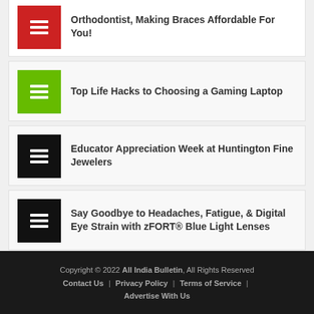Orthodontist, Making Braces Affordable For You!
Top Life Hacks to Choosing a Gaming Laptop
Educator Appreciation Week at Huntington Fine Jewelers
Say Goodbye to Headaches, Fatigue, & Digital Eye Strain with zFORT® Blue Light Lenses
Copyright © 2022 All India Bulletin, All Rights Reserved | Contact Us | Privacy Policy | Terms of Service | Advertise With Us